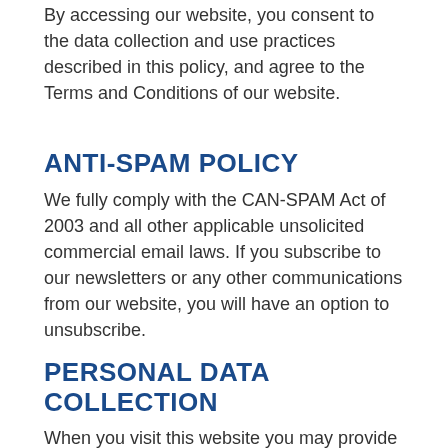By accessing our website, you consent to the data collection and use practices described in this policy, and agree to the Terms and Conditions of our website.
ANTI-SPAM POLICY
We fully comply with the CAN-SPAM Act of 2003 and all other applicable unsolicited commercial email laws. If you subscribe to our newsletters or any other communications from our website, you will have an option to unsubscribe.
PERSONAL DATA COLLECTION
When you visit this website you may provide us